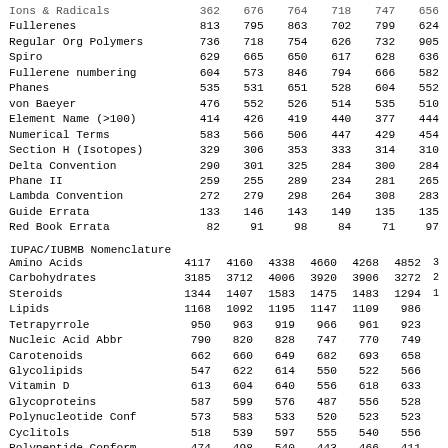| Category | Col1 | Col2 | Col3 | Col4 | Col5 | Col6 |
| --- | --- | --- | --- | --- | --- | --- |
| Ions & Radicals (partial) | 362 | 676 | 764 | 718 | 747 | 656 |
| Fullerenes | 813 | 795 | 863 | 702 | 799 | 624 |
| Regular Org Polymers | 736 | 718 | 754 | 626 | 732 | 905 |
| Spiro | 629 | 665 | 650 | 617 | 628 | 636 |
| Fullerene numbering | 604 | 573 | 846 | 794 | 666 | 582 |
| Phanes | 535 | 531 | 651 | 528 | 604 | 552 |
| von Baeyer | 476 | 552 | 526 | 514 | 535 | 510 |
| Element Name (>100) | 414 | 426 | 419 | 440 | 377 | 444 |
| Numerical Terms | 583 | 566 | 506 | 447 | 429 | 454 |
| Section H (Isotopes) | 329 | 306 | 353 | 333 | 314 | 310 |
| Delta Convention | 290 | 301 | 325 | 284 | 300 | 284 |
| Phane II | 259 | 255 | 289 | 234 | 281 | 265 |
| Lambda Convention | 272 | 279 | 298 | 264 | 308 | 283 |
| Guide Errata | 133 | 146 | 143 | 149 | 135 | 135 |
| Red Book Errata | 82 | 91 | 98 | 84 | 71 | 97 |
IUPAC/IUBMB Nomenclature
| Category | Col1 | Col2 | Col3 | Col4 | Col5 | Col6 |
| --- | --- | --- | --- | --- | --- | --- |
| Amino Acids | 4117 | 4160 | 4338 | 4660 | 4268 | 4852 |
| Carbohydrates | 3185 | 3712 | 4006 | 3920 | 3906 | 3272 |
| Steroids | 1344 | 1407 | 1583 | 1475 | 1483 | 1294 |
| Lipids | 1168 | 1092 | 1195 | 1147 | 1109 | 986 |
| Tetrapyrrole | 950 | 963 | 919 | 966 | 961 | 923 |
| Nucleic Acid Abbr | 790 | 820 | 828 | 747 | 770 | 749 |
| Carotenoids | 662 | 660 | 649 | 682 | 693 | 658 |
| Glycolipids | 547 | 622 | 614 | 550 | 522 | 566 |
| Vitamin D | 613 | 604 | 640 | 556 | 618 | 633 |
| Glycoproteins | 587 | 599 | 576 | 487 | 556 | 528 |
| Polynucleotide Conf | 573 | 583 | 533 | 520 | 523 | 523 |
| Cyclitols | 518 | 539 | 597 | 555 | 540 | 556 |
| Polypeptide Conform | 474 | 498 | 540 | 443 | 466 | 411 |
| Lignans & Neolignans (partial) | 476 | 462 | 496 | 594 | 565 | 495 |